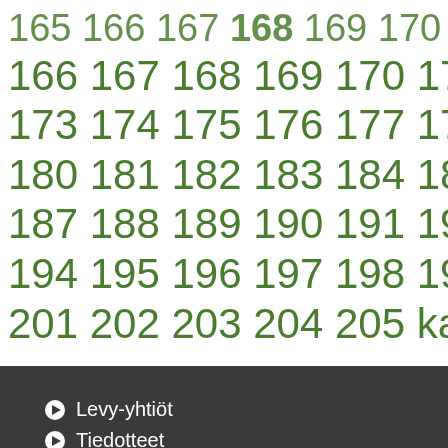166 167 168 169 170 171 172
173 174 175 176 177 178 179
180 181 182 183 184 185 186
187 188 189 190 191 192 193
194 195 196 197 198 199 200
201 202 203 204 205 kaikki >>>
Levy-yhtiöt
Tiedotteet
Asiakaskirje
Toimitusehdot
Yhteystiedot